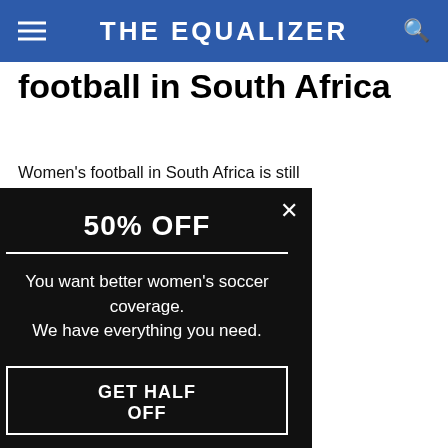THE EQUALIZER
football in South Africa
Women's football in South Africa is still very much in its infancy having only played their first game in 1993. It was only really after 2009, thanks to major backing from Sasol (a South African integrated energy compan… momentum. In ever Olympic Ga in 2016, and sin the top four at every two years
They won the C teams from
[Figure (screenshot): Popup modal with dark background showing '50% OFF' promotion. Text reads: 'You want better women's soccer coverage. We have everything you need.' with a 'GET HALF OFF' button and an X close button.]